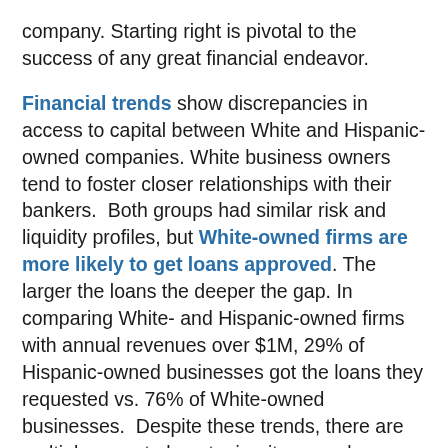company. Starting right is pivotal to the success of any great financial endeavor.
Financial trends show discrepancies in access to capital between White and Hispanic-owned companies. White business owners tend to foster closer relationships with their bankers. Both groups had similar risk and liquidity profiles, but White-owned firms are more likely to get loans approved. The larger the loans the deeper the gap. In comparing White- and Hispanic-owned firms with annual revenues over $1M, 29% of Hispanic-owned businesses got the loans they requested vs. 76% of White-owned businesses. Despite these trends, there are multiple ways to boost minority-owned businesses' chances at funding. Building credit before